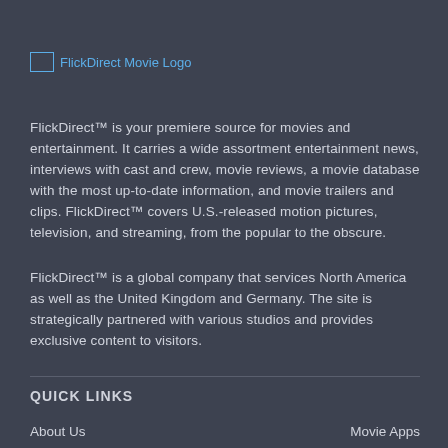[Figure (logo): FlickDirect Movie Logo — small image icon placeholder followed by blue text reading 'FlickDirect Movie Logo']
FlickDirect™ is your premiere source for movies and entertainment. It carries a wide assortment entertainment news, interviews with cast and crew, movie reviews, a movie database with the most up-to-date information, and movie trailers and clips. FlickDirect™ covers U.S.-released motion pictures, television, and streaming, from the popular to the obscure.
FlickDirect™ is a global company that services North America as well as the United Kingdom and Germany. The site is strategically partnered with various studios and provides exclusive content to visitors.
QUICK LINKS
About Us
Movie Apps